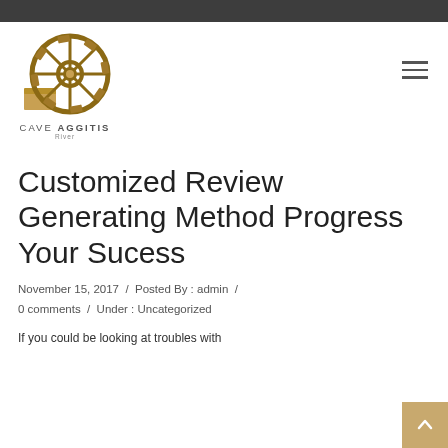Cave Aggitis River — site header with logo and navigation hamburger
[Figure (logo): Cave Aggitis River logo: wooden water wheel with a yellow block, text CAVE AGGITIS River below]
Customized Review Generating Method Progress Your Sucess
November 15, 2017 / Posted By : admin / 0 comments / Under : Uncategorized
If you could be looking at troubles with